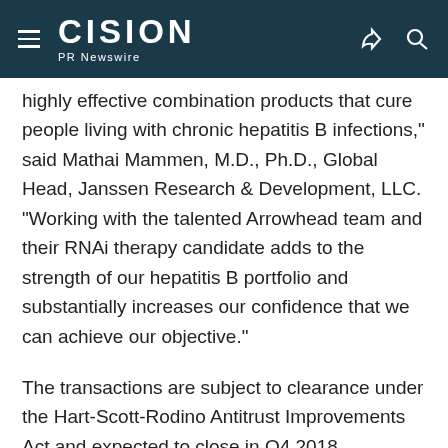CISION PR Newswire
highly effective combination products that cure people living with chronic hepatitis B infections," said Mathai Mammen, M.D., Ph.D., Global Head, Janssen Research & Development, LLC. "Working with the talented Arrowhead team and their RNAi therapy candidate adds to the strength of our hepatitis B portfolio and substantially increases our confidence that we can achieve our objective."
The transactions are subject to clearance under the Hart-Scott-Rodino Antitrust Improvements Act and expected to close in Q4 2018.
About the Janssen Pharmaceutical Companies of